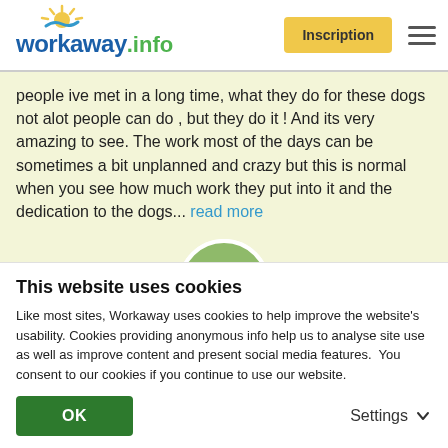workaway.info — Inscription
people ive met in a long time, what they do for these dogs not alot people can do , but they do it ! And its very amazing to see. The work most of the days can be sometimes a bit unplanned and crazy but this is normal when you see how much work they put into it and the dedication to the dogs... read more
[Figure (photo): Circular avatar photo of a person with dogs outdoors, with a green info badge]
[Figure (other): Five gold star rating icons]
This website uses cookies
Like most sites, Workaway uses cookies to help improve the website's usability. Cookies providing anonymous info help us to analyse site use as well as improve content and present social media features.  You consent to our cookies if you continue to use our website.
OK   Settings